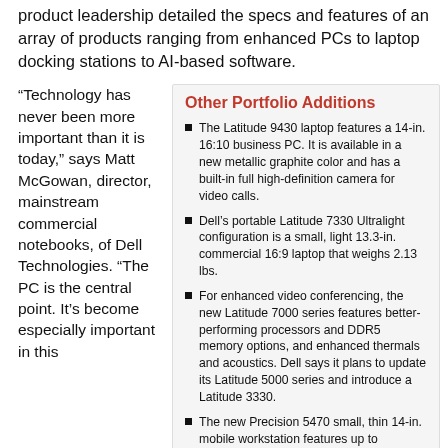product leadership detailed the specs and features of an array of products ranging from enhanced PCs to laptop docking stations to AI-based software.
“Technology has never been more important than it is today,” says Matt McGowan, director, mainstream commercial notebooks, of Dell Technologies. “The PC is the central point. It’s become especially important in this
Other Portfolio Additions
The Latitude 9430 laptop features a 14-in. 16:10 business PC. It is available in a new metallic graphite color and has a built-in full high-definition camera for video calls.
Dell’s portable Latitude 7330 Ultralight configuration is a small, light 13.3-in. commercial 16:9 laptop that weighs 2.13 lbs.
For enhanced video conferencing, the new Latitude 7000 series features better-performing processors and DDR5 memory options, and enhanced thermals and acoustics. Dell says it plans to update its Latitude 5000 series and introduce a Latitude 3330.
The new Precision 5470 small, thin 14-in. mobile workstation features up to